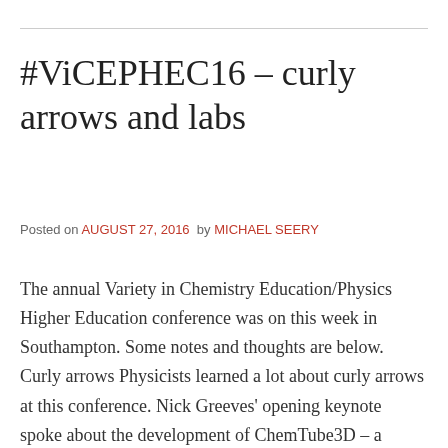#ViCEPHEC16 – curly arrows and labs
Posted on AUGUST 27, 2016  by MICHAEL SEERY
The annual Variety in Chemistry Education/Physics Higher Education conference was on this week in Southampton. Some notes and thoughts are below. Curly arrows Physicists learned a lot about curly arrows at this conference. Nick Greeves' opening keynote spoke about the development of ChemTube3D – a stunning achievement – over 1000 HTML pages, mostly developed by UG students.